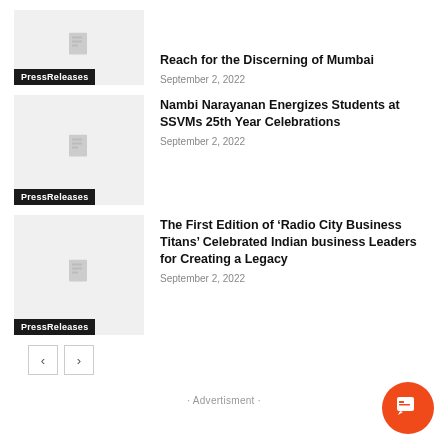Reach for the Discerning of Mumbai
September 2, 2022
Nambi Narayanan Energizes Students at SSVMs 25th Year Celebrations
September 2, 2022
The First Edition of ‘Radio City Business Titans’ Celebrated Indian business Leaders for Creating a Legacy
September 2, 2022
· Advertisment ·